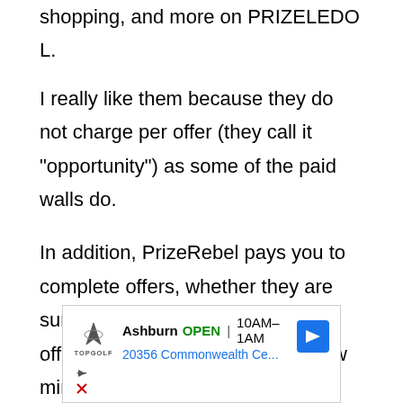shopping, and more on PRIZELEDO L.
I really like them because they do not charge per offer (they call it “opportunity”) as some of the paid walls do.
In addition, PrizeRebel pays you to complete offers, whether they are surveys, videos, or shopping. The offers can vary in length from a few minutes to over an hour.
[Figure (screenshot): Advertisement for TopGolf - Ashburn location, OPEN 10AM-1AM, 20356 Commonwealth Ce...]